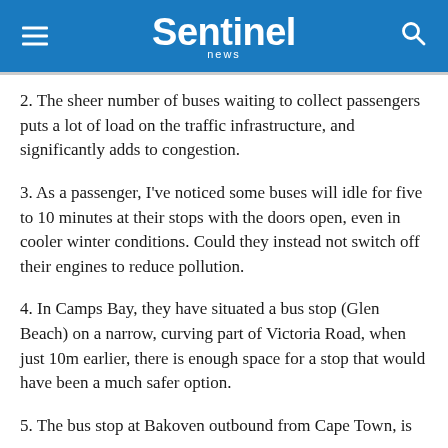Sentinel news
2. The sheer number of buses waiting to collect passengers puts a lot of load on the traffic infrastructure, and significantly adds to congestion.
3. As a passenger, I’ve noticed some buses will idle for five to 10 minutes at their stops with the doors open, even in cooler winter conditions. Could they instead not switch off their engines to reduce pollution.
4. In Camps Bay, they have situated a bus stop (Glen Beach) on a narrow, curving part of Victoria Road, when just 10m earlier, there is enough space for a stop that would have been a much safer option.
5. The bus stop at Bakoven outbound from Cape Town, is